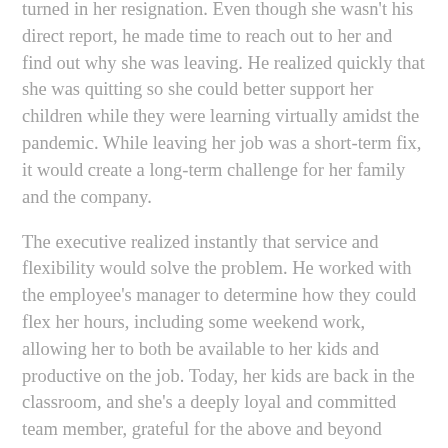turned in her resignation. Even though she wasn't his direct report, he made time to reach out to her and find out why she was leaving. He realized quickly that she was quitting so she could better support her children while they were learning virtually amidst the pandemic. While leaving her job was a short-term fix, it would create a long-term challenge for her family and the company.
The executive realized instantly that service and flexibility would solve the problem. He worked with the employee's manager to determine how they could flex her hours, including some weekend work, allowing her to both be available to her kids and productive on the job. Today, her kids are back in the classroom, and she's a deeply loyal and committed team member, grateful for the above and beyond support her company gave her during her time of need.
Here are four ways you can bring service-based leadership into your team: